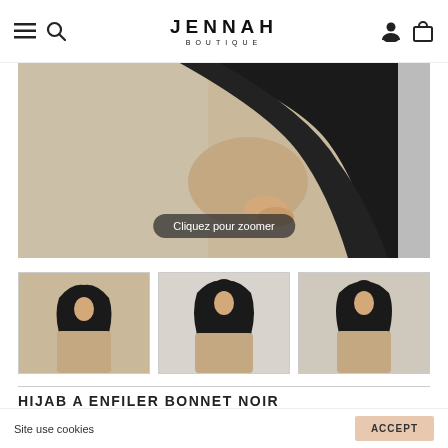JENNAH BOUTIQUE — navigation header with hamburger menu, search, logo, user account, and shopping bag icons
[Figure (photo): Close-up product photo showing a woman in a beige abaya holding a black hijab fabric, with a dark rounded pill overlay reading 'Cliquez pour zoomer']
[Figure (photo): Thumbnail 1: Woman wearing black hijab and beige abaya, full view]
[Figure (photo): Thumbnail 2: Woman wearing black hijab and beige abaya, frontal view]
[Figure (photo): Thumbnail 3: Woman wearing black hijab and beige abaya, side/closer view]
HIJAB A ENFILER BONNET NOIR
10,00 €
Site use cookies
ACCEPT